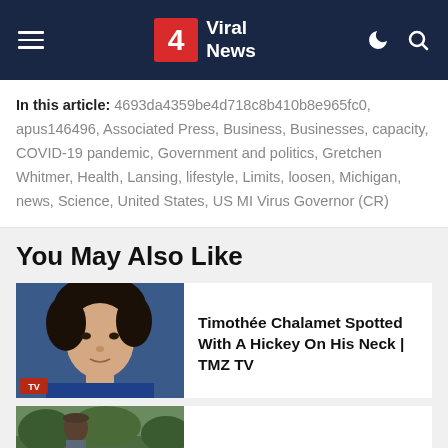4 Viral News
In this article: 4693da4359be4d718c8b410b8e965fc0, apus146496, Associated Press, Business, Businesses, capacity, COVID-19 pandemic, Government and politics, Gretchen Whitmer, Health, Lansing, lifestyle, Limits, loosen, Michigan, news, Science, United States, US MI Virus Governor (CR)
You May Also Like
[Figure (photo): Portrait photo of Timothée Chalamet with dark curly hair, wearing a blue jacket]
Timothée Chalamet Spotted With A Hickey On His Neck | TMZ TV
[Figure (photo): Partial photo of a second article, appears to show a person outdoors]